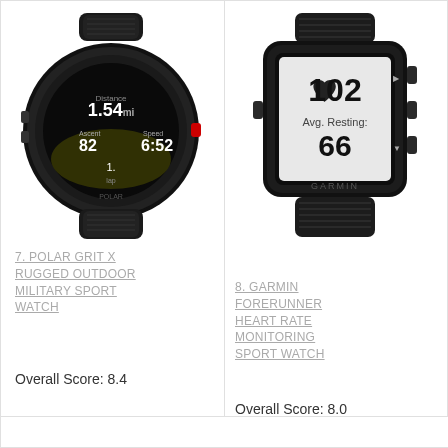[Figure (photo): Polar Grit X rugged outdoor military sport watch in black, showing running data on screen including 1.54, 82, 6:52]
[Figure (photo): Garmin Forerunner heart rate monitoring sport watch in black, showing heart rate 102 and Avg. Resting: 66 on screen]
7. POLAR GRIT X RUGGED OUTDOOR MILITARY SPORT WATCH
Overall Score: 8.4
8. GARMIN FORERUNNER HEART RATE MONITORING SPORT WATCH
Overall Score: 8.0